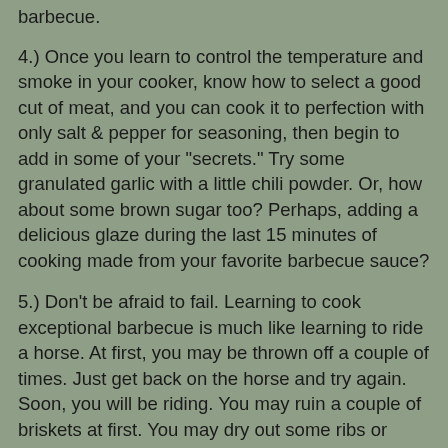barbecue.
4.) Once you learn to control the temperature and smoke in your cooker, know how to select a good cut of meat, and you can cook it to perfection with only salt & pepper for seasoning, then begin to add in some of your "secrets." Try some granulated garlic with a little chili powder. Or, how about some brown sugar too? Perhaps, adding a delicious glaze during the last 15 minutes of cooking made from your favorite barbecue sauce?
5.) Don't be afraid to fail. Learning to cook exceptional barbecue is much like learning to ride a horse. At first, you may be thrown off a couple of times. Just get back on the horse and try again. Soon, you will be riding. You may ruin a couple of briskets at first. You may dry out some ribs or cremate a pork butt. Don't let that stop you. Make notes of what went wrong. Make adjustments and try again. Cooking barbecue is a journey. You will learn something new every time you cook.
6.) Remember, don't mess it up! The meat is the foundation